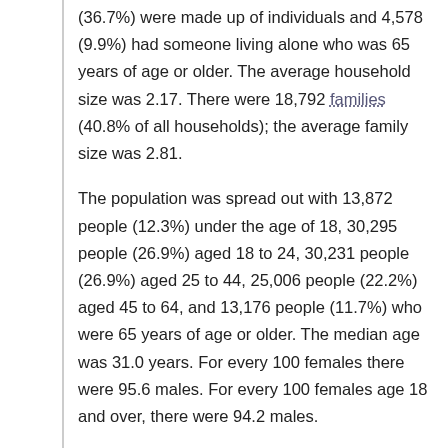(36.7%) were made up of individuals and 4,578 (9.9%) had someone living alone who was 65 years of age or older. The average household size was 2.17. There were 18,792 families (40.8% of all households); the average family size was 2.81.
The population was spread out with 13,872 people (12.3%) under the age of 18, 30,295 people (26.9%) aged 18 to 24, 30,231 people (26.9%) aged 25 to 44, 25,006 people (22.2%) aged 45 to 64, and 13,176 people (11.7%) who were 65 years of age or older. The median age was 31.0 years. For every 100 females there were 95.6 males. For every 100 females age 18 and over, there were 94.2 males.
There were 49,454 housing units at an average